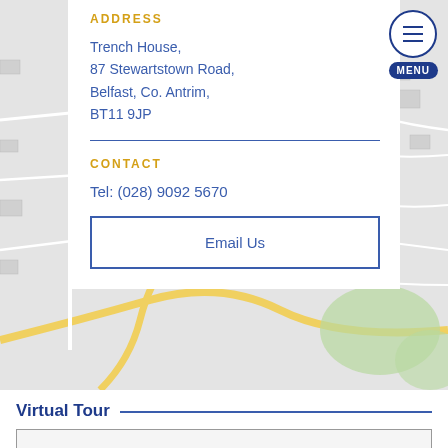[Figure (map): Street map background showing Belfast area around Stewartstown Road, with road network, building outlines, and green areas visible. Yellow roads and gray street grid.]
ADDRESS
Trench House,
87 Stewartstown Road,
Belfast, Co. Antrim,
BT11 9JP
CONTACT
Tel: (028) 9092 5670
Email Us
Virtual Tour
[Figure (other): Empty virtual tour embed area — a light gray rectangle with a border]